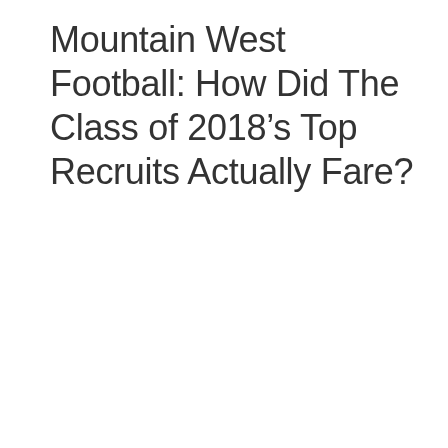Mountain West Football: How Did The Class of 2018’s Top Recruits Actually Fare?